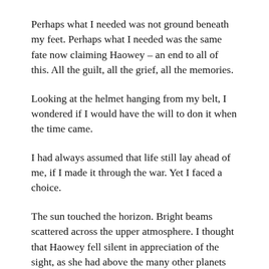Perhaps what I needed was not ground beneath my feet. Perhaps what I needed was the same fate now claiming Haowey – an end to all of this. All the guilt, all the grief, all the memories.
Looking at the helmet hanging from my belt, I wondered if I would have the will to don it when the time came.
I had always assumed that life still lay ahead of me, if I made it through the war. Yet I faced a choice.
The sun touched the horizon. Bright beams scattered across the upper atmosphere. I thought that Haowey fell silent in appreciation of the sight, as she had above the many other planets she had carried me to. But the deck shuddered again, and a rattle like the falling of skulls filled the command